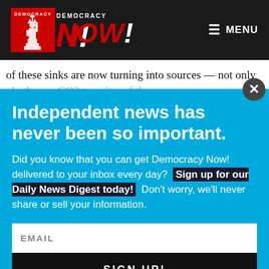Democracy Now! — MENU
of these sinks are now turning into sources — not only
Independent news has never been so important.
Did you know that you can get Democracy Now! delivered to your inbox every day? Sign up for our Daily News Digest today! Don't worry, we'll never share or sell your information.
EMAIL
SIGN UP!